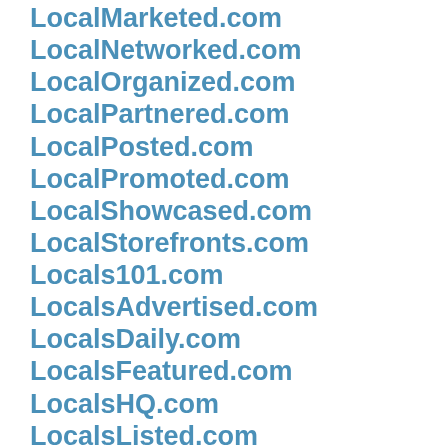LocalMarketed.com
LocalNetworked.com
LocalOrganized.com
LocalPartnered.com
LocalPosted.com
LocalPromoted.com
LocalShowcased.com
LocalStorefronts.com
Locals101.com
LocalsAdvertised.com
LocalsDaily.com
LocalsFeatured.com
LocalsHQ.com
LocalsListed.com
Localzz101.com
Localzz360.com
LocalzzHQ.com